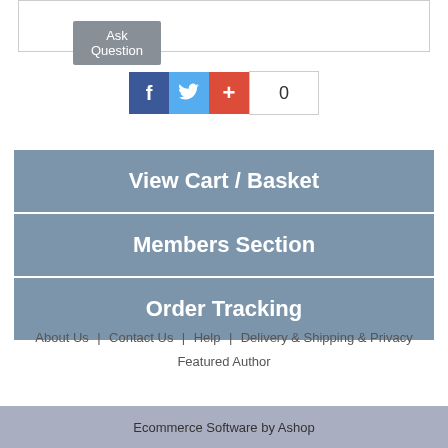Ask Question
[Figure (infographic): Social sharing bar with Facebook, Twitter, Google+ icons and a count of 0]
View Cart / Basket
Members Section
Order Tracking
About Us | Contact Us | Help | Delivery & Shipping & Privacy | Featured Author
Ecommerce Software by Ashop